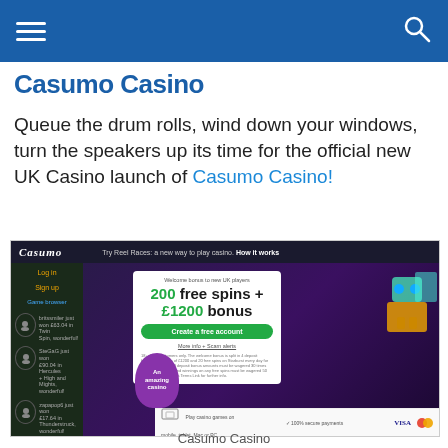Casumo Casino (navigation bar with hamburger menu and search icon)
Casumo Casino
Queue the drum rolls, wind down your windows, turn the speakers up its time for the official new UK Casino launch of Casumo Casino!
[Figure (screenshot): Screenshot of the Casumo Casino website showing the Casumo logo, a Reel Races banner, a welcome bonus offer of 200 free spins + £1200 bonus, a 'Create a free account' button, payment icons (VISA, Mastercard), and player testimonials on the left sidebar. An 'An amazing casino' label appears on the screenshot.]
Casumo Casino